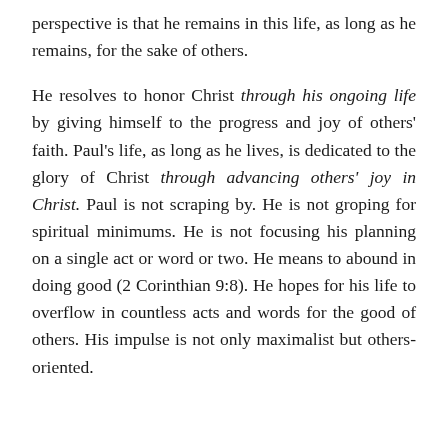perspective is that he remains in this life, as long as he remains, for the sake of others.
He resolves to honor Christ through his ongoing life by giving himself to the progress and joy of others' faith. Paul's life, as long as he lives, is dedicated to the glory of Christ through advancing others' joy in Christ. Paul is not scraping by. He is not groping for spiritual minimums. He is not focusing his planning on a single act or word or two. He means to abound in doing good (2 Corinthian 9:8). He hopes for his life to overflow in countless acts and words for the good of others. His impulse is not only maximalist but others-oriented.